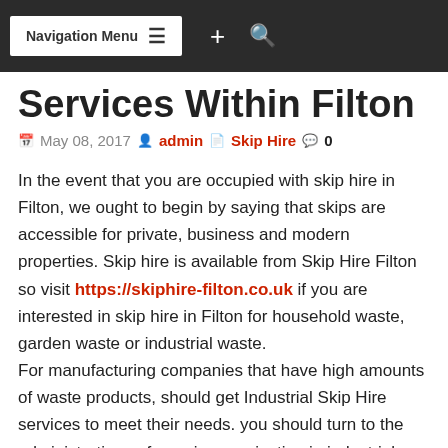Navigation Menu
Services Within Filton
May 08, 2017  admin  Skip Hire  0
In the event that you are occupied with skip hire in Filton, we ought to begin by saying that skips are accessible for private, business and modern properties. Skip hire is available from Skip Hire Filton so visit https://skiphire-filton.co.uk if you are interested in skip hire in Filton for household waste, garden waste or industrial waste.
For manufacturing companies that have high amounts of waste products, should get Industrial Skip Hire services to meet their needs. you should turn to the administrations of a main organization in industrial field, so ignore the reason why you need Skip Hire in Filton. These